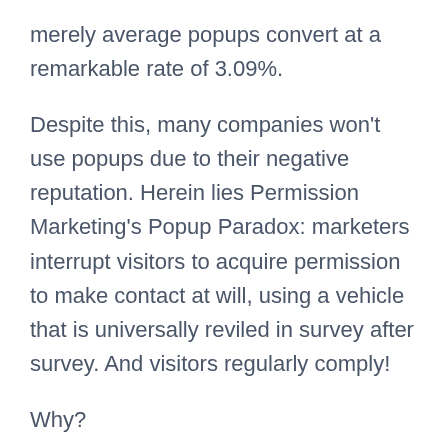merely average popups convert at a remarkable rate of 3.09%.
Despite this, many companies won't use popups due to their negative reputation. Herein lies Permission Marketing's Popup Paradox: marketers interrupt visitors to acquire permission to make contact at will, using a vehicle that is universally reviled in survey after survey. And visitors regularly comply!
Why?
Pro-Popuppers conclude that visitors must be